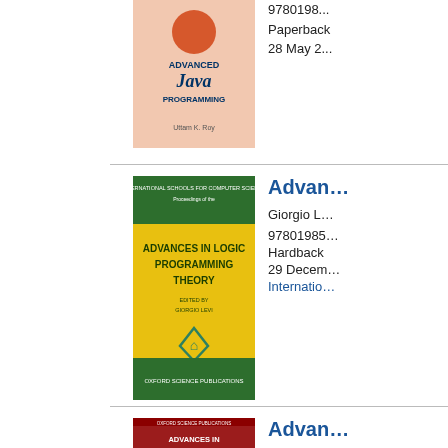[Figure (illustration): Book cover for Advanced Java Programming by Uttam K. Roy, pink/salmon background with Java logo]
9780198...
Paperback
28 May 2...
[Figure (illustration): Book cover for Advances in Logic Programming Theory, edited by Giorgio Levi, yellow cover with green header and Oxford Science Publications branding]
Advan...
Giorgio L...
97801985...
Hardback
29 Decem...
Internatio...
[Figure (illustration): Book cover for Advances in Model-Based Predictive Control, edited by David Clarke, dark red/maroon header with graph on lower portion]
Advan...
David Cla...
97801985...
Hardback
05 May 1...